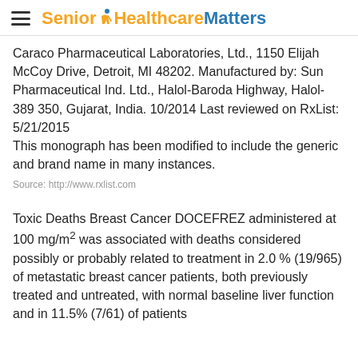Senior HealthcareMatters
Caraco Pharmaceutical Laboratories, Ltd., 1150 Elijah McCoy Drive, Detroit, MI 48202. Manufactured by: Sun Pharmaceutical Ind. Ltd., Halol-Baroda Highway, Halol-389 350, Gujarat, India. 10/2014 Last reviewed on RxList: 5/21/2015
This monograph has been modified to include the generic and brand name in many instances.
Source: http://www.rxlist.com
Toxic Deaths Breast Cancer DOCEFREZ administered at 100 mg/m² was associated with deaths considered possibly or probably related to treatment in 2.0 % (19/965) of metastatic breast cancer patients, both previously treated and untreated, with normal baseline liver function and in 11.5% (7/61) of patients